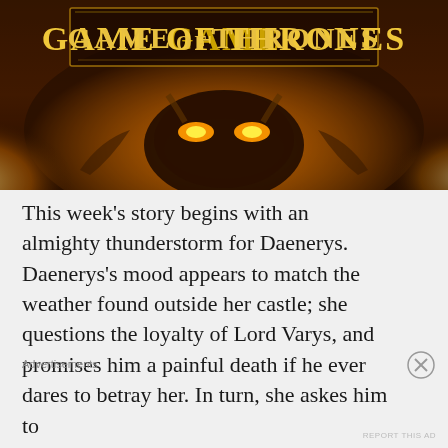[Figure (illustration): Game of Thrones banner image with gold title text 'GAME OF THRONES' on a dark fiery background with a dragon-like mask figure glowing with orange light]
This week's story begins with an almighty thunderstorm for Daenerys. Daenerys's mood appears to match the weather found outside her castle; she questions the loyalty of Lord Varys, and promises him a painful death if he ever dares to betray her. In turn, she askes him to
Advertisements